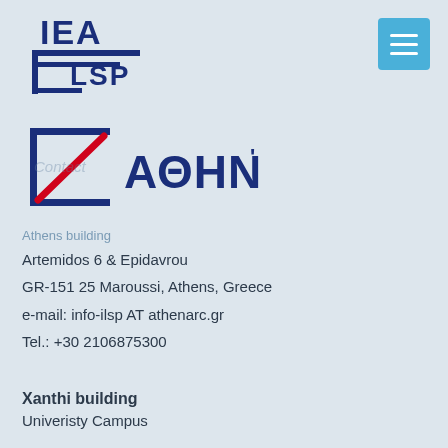[Figure (logo): IEA/ILSP logo in dark blue with stylized bracket and text IEA and LSP]
[Figure (logo): Athena Research Center logo: blue square bracket with red diagonal line and bold Greek text ΑΘΗΝΑ]
Athens building
Artemidos 6 & Epidavrou
GR-151 25 Maroussi, Athens, Greece
e-mail: info-ilsp AT athenarc.gr
Tel.: +30 2106875300
Xanthi building
Univeristy Campus